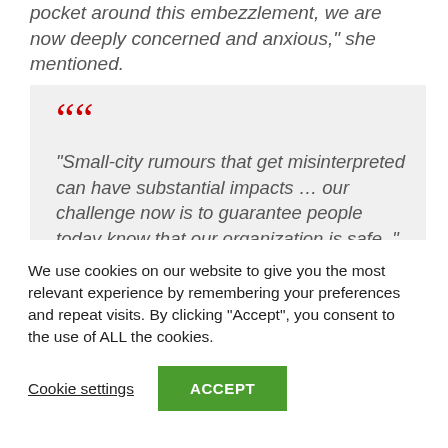pocket around this embezzlement, we are now deeply concerned and anxious,” she mentioned.
“Small-city rumours that get misinterpreted can have substantial impacts … our challenge now is to guarantee people today know that our organization is safe.”
We use cookies on our website to give you the most relevant experience by remembering your preferences and repeat visits. By clicking “Accept”, you consent to the use of ALL the cookies.
Cookie settings
ACCEPT